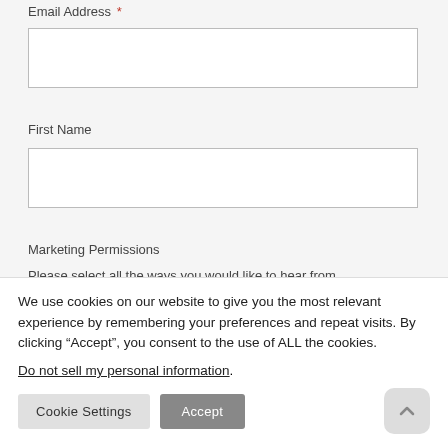Email Address *
(input box for Email Address)
First Name
(input box for First Name)
Marketing Permissions
Please select all the ways you would like to hear from
We use cookies on our website to give you the most relevant experience by remembering your preferences and repeat visits. By clicking “Accept”, you consent to the use of ALL the cookies.
Do not sell my personal information.